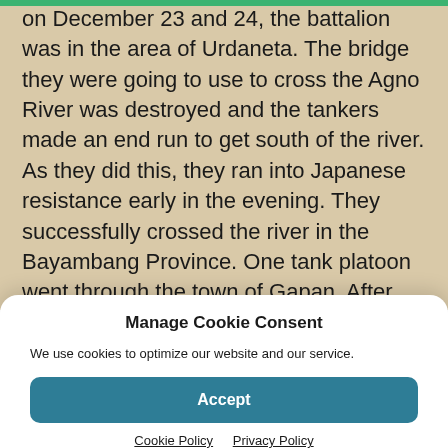on December 23 and 24, the battalion was in the area of Urdaneta. The bridge they were going to use to cross the Agno River was destroyed and the tankers made an end run to get south of the river. As they did this, they ran into Japanese resistance early in the evening. They successfully crossed the river in the Bayambang Province. One tank platoon went through the town of Gapan. After they were through the town, they were informed it had been held by the Japanese. They could never figure out why the Japanese had not fired on them. Harold was able to send a telegram home to his
Manage Cookie Consent
We use cookies to optimize our website and our service.
Accept
Cookie Policy   Privacy Policy